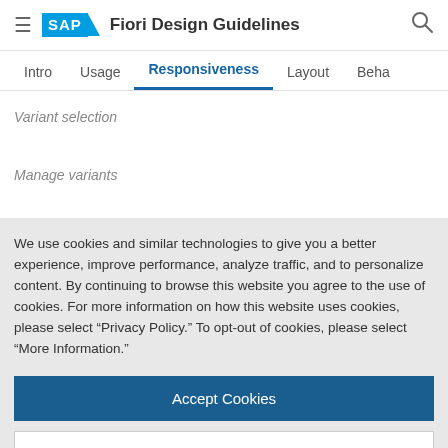SAP Fiori Design Guidelines
Responsiveness
Variant selection
Manage variants
We use cookies and similar technologies to give you a better experience, improve performance, analyze traffic, and to personalize content. By continuing to browse this website you agree to the use of cookies. For more information on how this website uses cookies, please select “Privacy Policy.” To opt-out of cookies, please select “More Information.”
Accept Cookies
More Information
Privacy Policy | Powered by: TrustArc